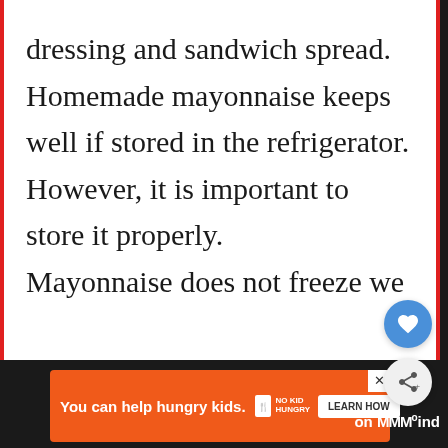dressing and sandwich spread.

Homemade mayonnaise keeps well if stored in the refrigerator. However, it is important to store it properly.

Mayonnaise does not freeze we[ll]...
[Figure (screenshot): UI elements: heart/like button (blue circle with white heart), share button (grey circle with share icon), and a 'WHAT'S NEXT' panel with thumbnail and text 'How long does it take...']
[Figure (screenshot): Advertisement banner: orange background, text 'You can help hungry kids.' with No Kid Hungry logo and 'LEARN HOW' button. Bottom bar also shows 'on Mind' branding.]